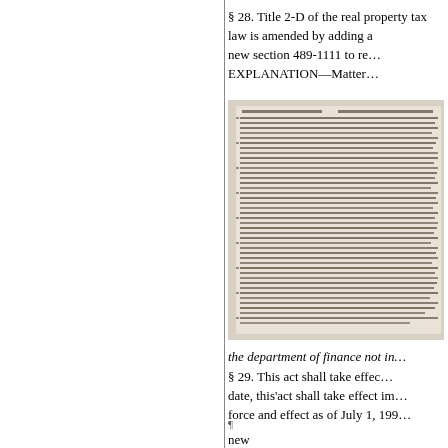§ 28. Title 2-D of the real property tax law is amended by adding a new section 489-1111 to re…
EXPLANATION—Matter…
[Figure (photo): Scanned legislative document page showing dense typewritten text of a New York State law.]
the department of finance not in…
§ 29. This act shall take effect… date, this'act shall take effect im… force and effect as of July 1, 199…
¶
new